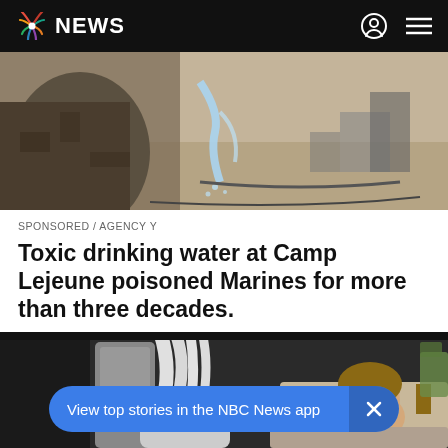NBC NEWS
[Figure (photo): A soldier in camouflage uniform drinking from a water stream outdoors, military setting with equipment in background]
SPONSORED / AGENCY Y
Toxic drinking water at Camp Lejeune poisoned Marines for more than three decades.
[Figure (photo): A woman smiling while lying in a medical chair undergoing a treatment with tubes and medical equipment around her]
View top stories in the NBC News app